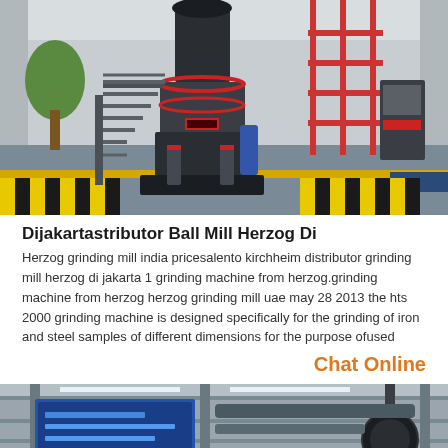[Figure (photo): Industrial grinding mill machine (Herzog ball mill) standing in a large factory/warehouse with grey floor, yellow safety stripes, metal staircase, red pipe scaffolding, and industrial ceiling. The machine is a tall black vertical mill with red accents.]
Dijakartastributor Ball Mill Herzog Di
Herzog grinding mill india pricesalento kirchheim distributor grinding mill herzog di jakarta 1 grinding machine from herzog.grinding machine from herzog herzog grinding mill uae may 28 2013 the hts 2000 grinding machine is designed specifically for the grinding of iron and steel samples of different dimensions for the purpose ofused
Chat Online
[Figure (photo): Industrial factory interior showing overhead cranes, blue banners/signage, ceiling girders, fluorescent lights, and large mechanical equipment in a warehouse setting.]